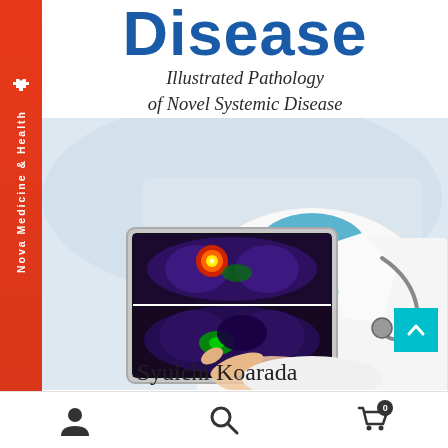Disease
Illustrated Pathology of Novel Systemic Disease
[Figure (photo): Medical professional in white coat and stethoscope pointing at a tablet showing medical imaging scans (PET/CT scans with colorized overlay showing a lesion). The image background is light blue/white. Red sidebar on left with Nova Medicine & Health publisher branding.]
Syuichi Koarada
[Figure (other): Teal scroll-up button with white chevron arrow]
User icon | Search icon | Cart icon (0)